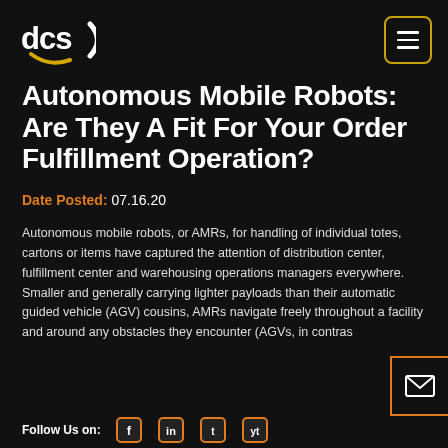DCS logo and navigation menu
Autonomous Mobile Robots: Are They A Fit For Your Order Fulfillment Operation?
Date Posted: 07.16.20
Autonomous mobile robots, or AMRs, for handling of individual totes, cartons or items have captured the attention of distribution center, fulfillment center and warehousing operations managers everywhere. Smaller and generally carrying lighter payloads than their automatic guided vehicle (AGV) cousins, AMRs navigate freely throughout a facility and around any obstacles they encounter (AGVs, in contras
Follow Us on: